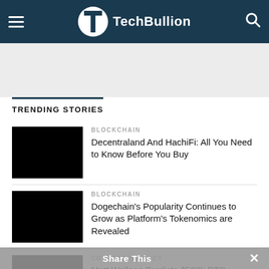TechBullion
TRENDING STORIES
BLOCKCHAIN
Decentraland And HachiFi: All You Need to Know Before You Buy
BLOCKCHAIN
Dogechain's Popularity Continues to Grow as Platform's Tokenomics are Revealed
CRYPTOCURRENCY
Matt Wallace Predicts $500k BTC and $3 DOGE by 2024
Share This